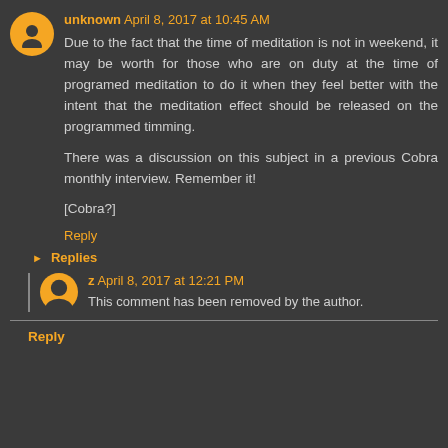unknown April 8, 2017 at 10:45 AM
Due to the fact that the time of meditation is not in weekend, it may be worth for those who are on duty at the time of programed meditation to do it when they feel better with the intent that the meditation effect should be released on the programmed timming.

There was a discussion on this subject in a previous Cobra monthly interview. Remember it!

[Cobra?]
Reply
Replies
z April 8, 2017 at 12:21 PM
This comment has been removed by the author.
Reply